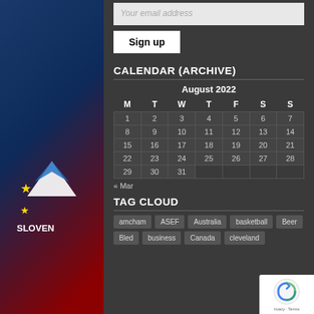Your email address
Sign up
CALENDAR (ARCHIVE)
| M | T | W | T | F | S | S |
| --- | --- | --- | --- | --- | --- | --- |
| 1 | 2 | 3 | 4 | 5 | 6 | 7 |
| 8 | 9 | 10 | 11 | 12 | 13 | 14 |
| 15 | 16 | 17 | 18 | 19 | 20 | 21 |
| 22 | 23 | 24 | 25 | 26 | 27 | 28 |
| 29 | 30 | 31 |  |  |  |  |
« Mar
TAG CLOUD
amcham
ASEF
Australia
basketball
Beer
Bled
business
Canada
cleveland